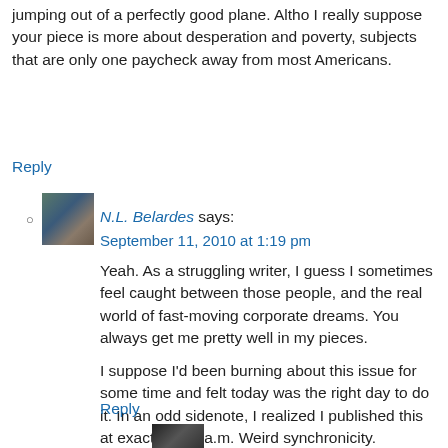jumping out of a perfectly good plane. Altho I really suppose your piece is more about desperation and poverty, subjects that are only one paycheck away from most Americans.
Reply
[Figure (photo): Small avatar photo of a person]
N.L. Belardes says:
September 11, 2010 at 1:19 pm
Yeah. As a struggling writer, I guess I sometimes feel caught between those people, and the real world of fast-moving corporate dreams. You always get me pretty well in my pieces.
I suppose I'd been burning about this issue for some time and felt today was the right day to do it. In an odd sidenote, I realized I published this at exactly 9:11 a.m. Weird synchronicity.
Reply
[Figure (photo): Small avatar photo of a person (partially visible)]